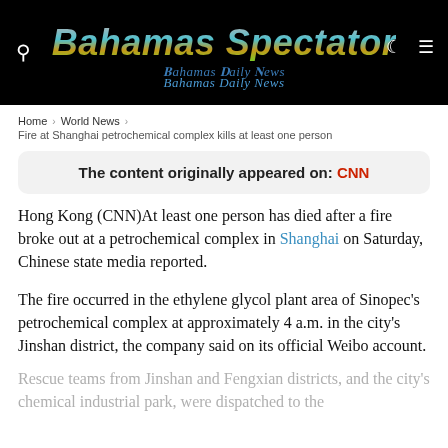Bahamas Spectator — Bahamas Daily News
Home › World News › Fire at Shanghai petrochemical complex kills at least one person
The content originally appeared on: CNN
Hong Kong (CNN)At least one person has died after a fire broke out at a petrochemical complex in Shanghai on Saturday, Chinese state media reported.
The fire occurred in the ethylene glycol plant area of Sinopec's petrochemical complex at approximately 4 a.m. in the city's Jinshan district, the company said on its official Weibo account.
Rescue teams from Jinshan and Fengxian districts, and the city's chemical industrial park, were dispatched to the scene, according to the officials. The fire broke out at...